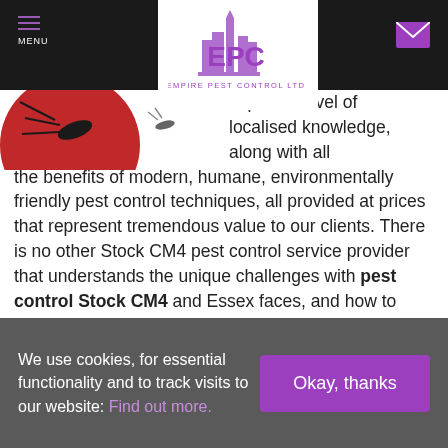[Figure (logo): EPC Empire Pest Control Ltd logo with purple building silhouette and purple text]
supreme level of localised knowledge, along with all the benefits of modern, humane, environmentally friendly pest control techniques, all provided at prices that represent tremendous value to our clients. There is no other Stock CM4 pest control service provider that understands the unique challenges with pest control Stock CM4 and Essex faces, and how to best deal with them.

We at EPC pride ourselves not only on the high standard of
We use cookies, for essential functionality and to track visits to our website: Find out more.